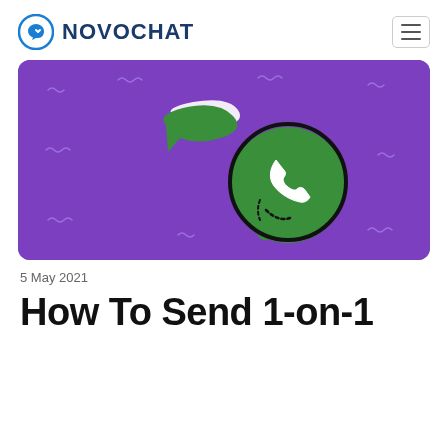NOVOCHAT
[Figure (illustration): Purple banner image showing a green speech bubble with white highlight and a green WhatsApp-style phone icon speech bubble on a purple background with small squiggly line decorations]
5 May 2021
How To Send 1-on-1